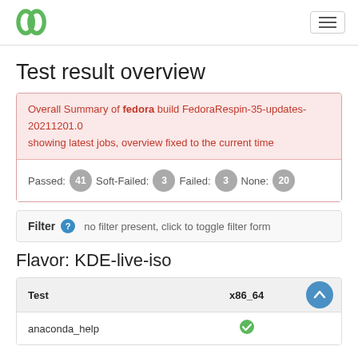openQA logo and navigation menu
Test result overview
Overall Summary of fedora build FedoraRespin-35-updates-20211201.0
showing latest jobs, overview fixed to the current time
Passed: 41  Soft-Failed: 3  Failed: 3  None: 20
Filter  no filter present, click to toggle filter form
Flavor: KDE-live-iso
| Test | x86_64 |
| --- | --- |
| anaconda_help |  |